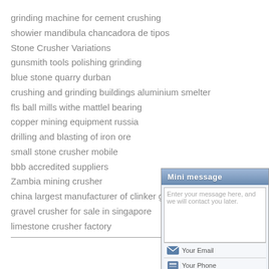grinding machine for cement crushing
showier mandibula chancadora de tipos
Stone Crusher Variations
gunsmith tools polishing grinding
blue stone quarry durban
crushing and grinding buildings aluminium smelter
fls ball mills withe mattlel bearing
copper mining equipment russia
drilling and blasting of iron ore
small stone crusher mobile
bbb accredited suppliers
Zambia mining crusher
china largest manufacturer of clinker grinding
gravel crusher for sale in singapore
limestone crusher factory
Add: New Technical
[Figure (screenshot): Mini message widget with textarea for entering a message, email field, phone field, and Email Us / Send buttons]